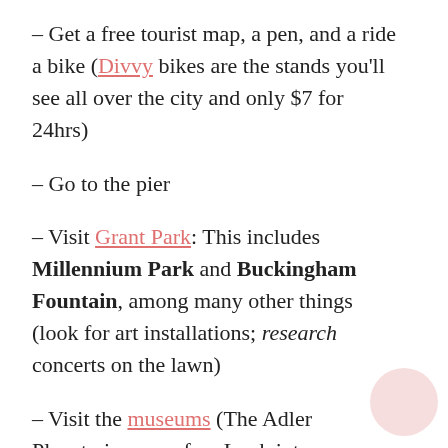– Get a free tourist map, a pen, and a ride a bike (Divvy bikes are the stands you'll see all over the city and only $7 for 24hrs)
– Go to the pier
– Visit Grant Park: This includes Millennium Park and Buckingham Fountain, among many other things (look for art installations; research concerts on the lawn)
– Visit the museums (The Adler Planetarium was fun. Look into a CityPass if you'll be